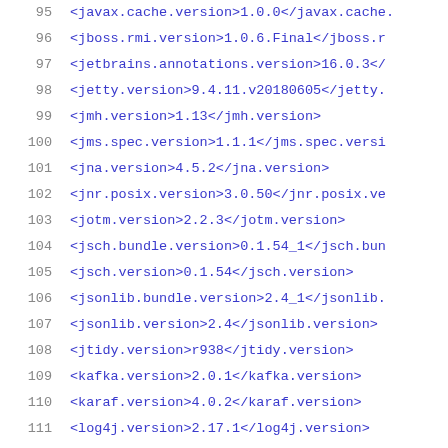95  <javax.cache.version>1.0.0</javax.cache...
96  <jboss.rmi.version>1.0.6.Final</jboss.r...
97  <jetbrains.annotations.version>16.0.3</...
98  <jetty.version>9.4.11.v20180605</jetty....
99  <jmh.version>1.13</jmh.version>
100 <jms.spec.version>1.1.1</jms.spec.versi...
101 <jna.version>4.5.2</jna.version>
102 <jnr.posix.version>3.0.50</jnr.posix.ve...
103 <jotm.version>2.2.3</jotm.version>
104 <jsch.bundle.version>0.1.54_1</jsch.bun...
105 <jsch.version>0.1.54</jsch.version>
106 <jsonlib.bundle.version>2.4_1</jsonlib....
107 <jsonlib.version>2.4</jsonlib.version>
108 <jtidy.version>r938</jtidy.version>
109 <kafka.version>2.0.1</kafka.version>
110 <karaf.version>4.0.2</karaf.version>
111 <log4j.version>2.17.1</log4j.version>
112 <lucene.bundle.version>7.4.0_1</lucene....
113 <lucene.version>7.4.0</lucene.version>
114 <lz4.version>1.5.0</lz4.version>
115 <maven.assembly.plugin.version>2.4</mav...
116 <maven.bundle.plugin.version>3.5.0</mav...